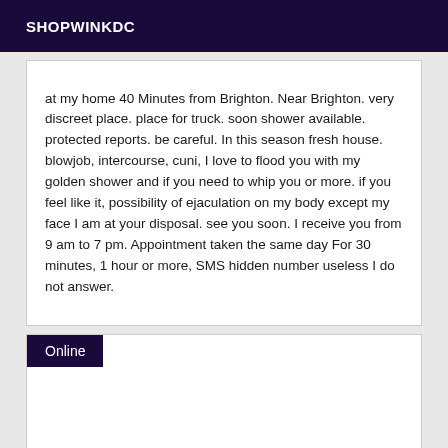SHOPWINKDC
at my home 40 Minutes from Brighton. Near Brighton. very discreet place. place for truck. soon shower available. protected reports. be careful. In this season fresh house. blowjob, intercourse, cuni, I love to flood you with my golden shower and if you need to whip you or more. if you feel like it, possibility of ejaculation on my body except my face I am at your disposal. see you soon. I receive you from 9 am to 7 pm. Appointment taken the same day For 30 minutes, 1 hour or more, SMS hidden number useless I do not answer.
Online